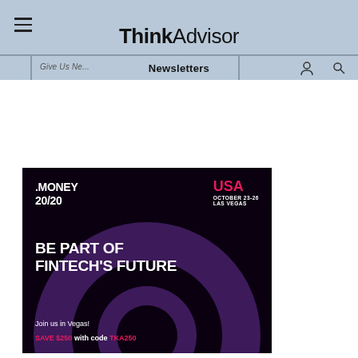ThinkAdvisor — Newsletters
[Figure (infographic): Money 20/20 USA conference advertisement. Black background with purple donut/arc shapes. Text: .MONEY 20/20, USA OCTOBER 23-26 LAS VEGAS, BE PART OF FINTECH'S FUTURE, Join us in Vegas! SAVE $250 with code TKA250]